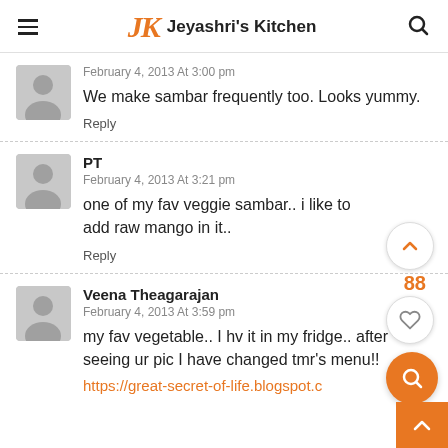Jeyashri's Kitchen
February 4, 2013 At 3:00 pm
We make sambar frequently too. Looks yummy.
Reply
PT
February 4, 2013 At 3:21 pm
one of my fav veggie sambar.. i like to add raw mango in it..
Reply
Veena Theagarajan
February 4, 2013 At 3:59 pm
my fav vegetable.. I hv it in my fridge.. after seeing ur pic I have changed tmr's menu!!
https://great-secret-of-life.blogspot.c